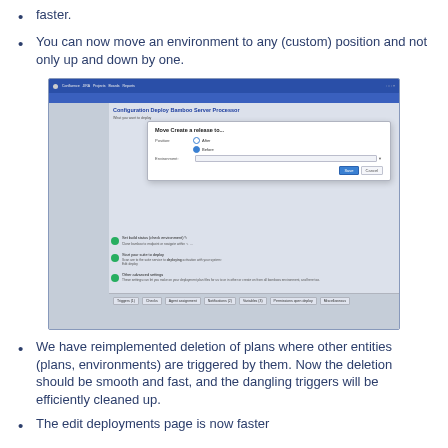faster.
You can now move an environment to any (custom) position and not only up and down by one.
[Figure (screenshot): Screenshot of a Bamboo configuration/deploy page showing a 'Move Create a release to...' dialog with radio buttons for Above/Below and a custom position dropdown, along with Save and Cancel buttons. The page background shows a deployment configuration interface.]
We have reimplemented deletion of plans where other entities (plans, environments) are triggered by them. Now the deletion should be smooth and fast, and the dangling triggers will be efficiently cleaned up.
The edit deployments page is now faster